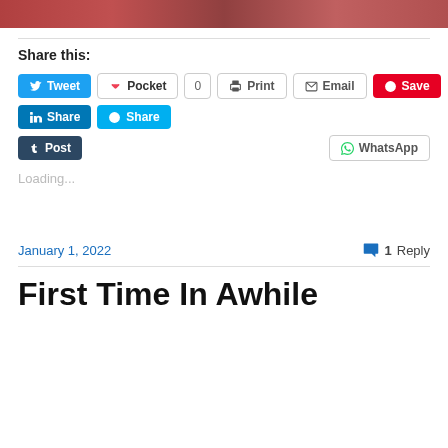[Figure (photo): Partial photo strip at top of page showing reddish-brown tones]
Share this:
[Figure (screenshot): Row of social share buttons: Tweet, Pocket (0), Print, Email, Save]
[Figure (screenshot): Second row of share buttons: LinkedIn Share, Skype Share]
[Figure (screenshot): Third row: Post (Tumblr), WhatsApp]
Loading...
January 1, 2022
1 Reply
First Time In Awhile